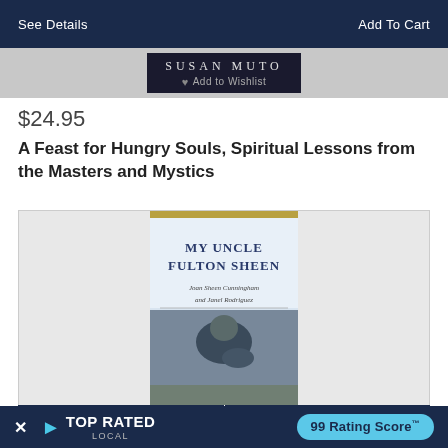See Details
Add To Cart
[Figure (photo): Book cover for a Susan Muto title with dark background and 'Add to Wishlist' overlay]
$24.95
A Feast for Hungry Souls, Spiritual Lessons from the Masters and Mystics
[Figure (photo): Book cover for 'My Uncle Fulton Sheen' by Joan Sheen Cunningham and Janel Rodriguez, showing a man in clerical dress with a child, blue/gray tones]
See Details
Add To Cart
TOP RATED LOCAL — 99 Rating Score™